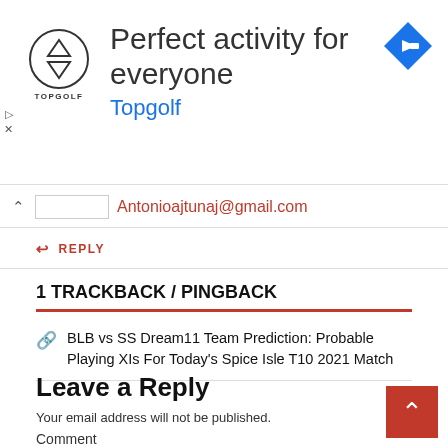[Figure (advertisement): Topgolf advertisement banner with logo, headline 'Perfect activity for everyone', subtext 'Topgolf' in blue, and a blue diamond navigation arrow icon on the right.]
Antonioajtunaj@gmail.com
REPLY
1 TRACKBACK / PINGBACK
BLB vs SS Dream11 Team Prediction: Probable Playing XIs For Today's Spice Isle T10 2021 Match
Leave a Reply
Your email address will not be published.
Comment